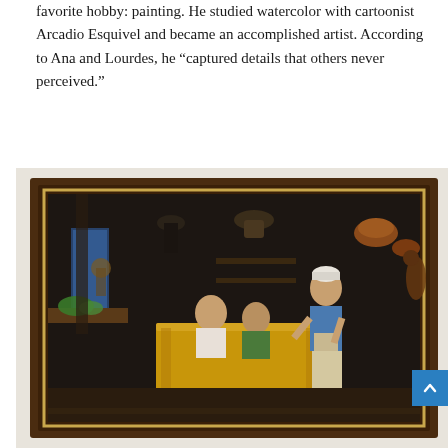favorite hobby: painting. He studied watercolor with cartoonist Arcadio Esquivel and became an accomplished artist. According to Ana and Lourdes, he “captured details that others never perceived.”
[Figure (photo): A framed painting displayed on a wall. The painting shows a dark interior scene — likely a traditional kitchen or tavern — with figures seated around a table covered with a yellow cloth, and a standing figure in a white cap and blue shirt with an apron. Various hanging items, baskets, and copper pots are visible in the background. The painting is set in a dark brown wooden frame with a gold inner border.]